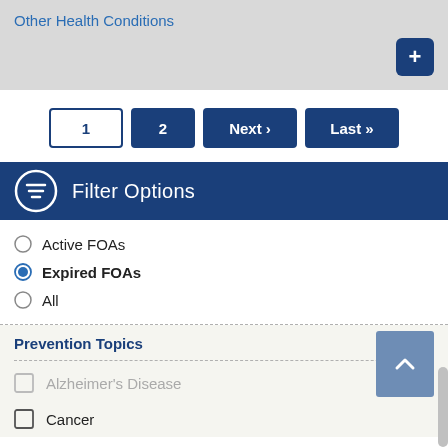Other Health Conditions
[Figure (screenshot): Pagination buttons: 1 (active, outlined), 2, Next ›, Last »]
Filter Options
Active FOAs (radio button, unchecked)
Expired FOAs (radio button, checked/selected)
All (radio button, unchecked)
Prevention Topics
Alzheimer's Disease (checkbox, unchecked, grayed)
Cancer (checkbox, unchecked)